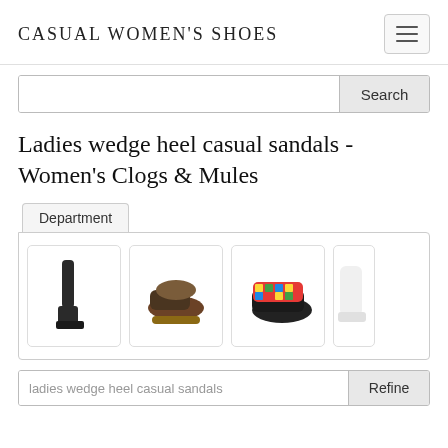CASUAL WOMEN'S SHOES
Search
Ladies wedge heel casual sandals - Women's Clogs & Mules
Department
[Figure (photo): Four product images: tall black boot, brown wooden clog, colorful woven wedge sneaker, and a partially visible white shoe]
ladies wedge heel casual sandals
Refine